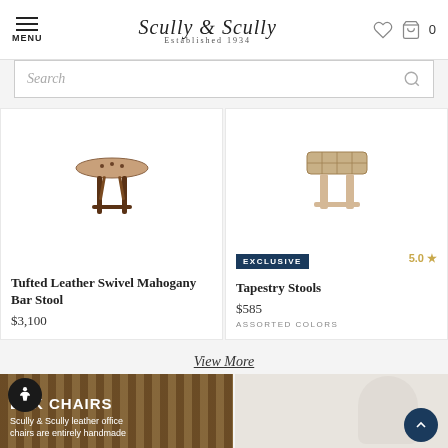MENU | Scully & Scully Established 1934 | [heart icon] [bag icon] 0
Search
[Figure (photo): Partial view of Tufted Leather Swivel Mahogany Bar Stool product image]
Tufted Leather Swivel Mahogany Bar Stool
$3,100
[Figure (photo): Tapestry Stools product image, EXCLUSIVE badge, 5.0 star rating]
EXCLUSIVE | 5.0 ★
Tapestry Stools
$585
ASSORT ED COLORS
View More
[Figure (photo): Desk chairs section banner: background image of furniture, text 'DESK CHAIRS' and 'Scully & Scully leather office chairs are entirely handmade', with accessibility icon button]
[Figure (photo): White tufted chair product image with back-to-top button]